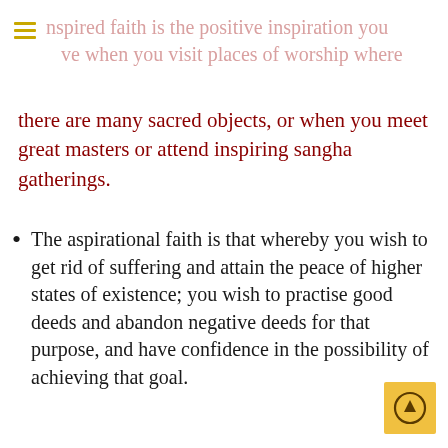nspired faith is the positive inspiration you ve when you visit places of worship where
there are many sacred objects, or when you meet great masters or attend inspiring sangha gatherings.
The aspirational faith is that whereby you wish to get rid of suffering and attain the peace of higher states of existence; you wish to practise good deeds and abandon negative deeds for that purpose, and have confidence in the possibility of achieving that goal.
The faith of full confidence is to understand that the Three Jewels are your only and ultimate Refuge, and to have heartfelt understanding of and trust in the Buddha, Dharma, and Sangha.